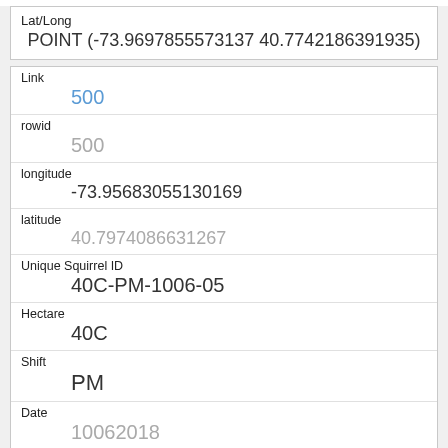| Field | Value |
| --- | --- |
| Lat/Long | POINT (-73.9697855573137 40.7742186391935) |
| Link | 500 |
| rowid | 500 |
| longitude | -73.95683055130169 |
| latitude | 40.7974086631267 |
| Unique Squirrel ID | 40C-PM-1006-05 |
| Hectare | 40C |
| Shift | PM |
| Date | 10062018 |
| Hectare Squirrel Number |  |